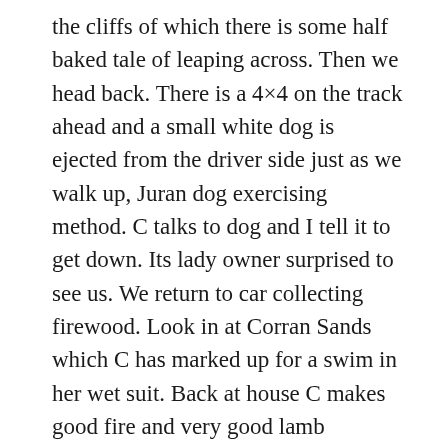the cliffs of which there is some half baked tale of leaping across. Then we head back. There is a 4×4 on the track ahead and a small white dog is ejected from the driver side just as we walk up, Juran dog exercising method. C talks to dog and I tell it to get down. Its lady owner surprised to see us. We return to car collecting firewood. Look in at Corran Sands which C has marked up for a swim in her wet suit. Back at house C makes good fire and very good lamb sausages coriander mash carrots and broccoli followed by creme caramel. I make first batch of flapjack to actually stick together firmly but oven too hot fierce and high so need chisel to get at it. Sit in summer house and watch sea at 10.30. Bordeaux then bed.